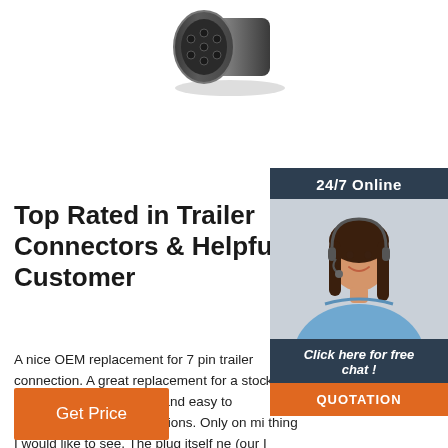[Figure (photo): Close-up photo of a 7-pin trailer connector plug, dark metallic, viewed from the front showing the circular pin arrangement]
Top Rated in Trailer Connectors & Helpful Customer
[Figure (infographic): Chat widget overlay: dark navy background with '24/7 Online' header, photo of smiling customer service representative with headset, 'Click here for free chat!' text, and orange QUOTATION button]
A nice OEM replacement for 7 pin trailer connection. A great replacement for a stock set up. Easy terminal set up and easy to understand wiring instructions. Only on mi thing I would like to see. The plug itself ne (our I would like to see) a larger catch for the plug cover. Has me concerned it may pull out if a har turn or bump is
Get Price